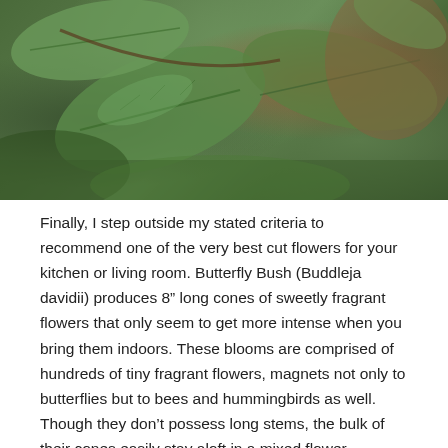[Figure (photo): Close-up photograph of green leaves with a branch, with a reddish-brown area visible on the right side, blurred background.]
Finally, I step outside my stated criteria to recommend one of the very best cut flowers for your kitchen or living room. Butterfly Bush (Buddleja davidii) produces 8” long cones of sweetly fragrant flowers that only seem to get more intense when you bring them indoors. These blooms are comprised of hundreds of tiny fragrant flowers, magnets not only to butterflies but to bees and hummingbirds as well. Though they don’t possess long stems, the bulk of their cones easily stay aloft in a mixed flower bouquet. Whether it’s the vivid purple of ‘Ellen’s Blue’ or the pure white bliss of ‘White Profusion’, these